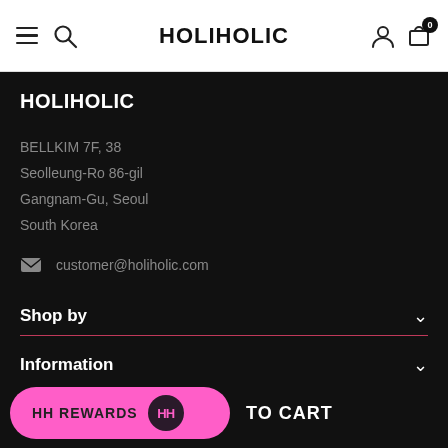HOLIHOLIC
HOLIHOLIC
BELLKIM 7F, 38
Seolleung-Ro 86-gil
Gangnam-Gu, Seoul
South Korea
customer@holiholic.com
Shop by
Information
HH REWARDS  TO CART